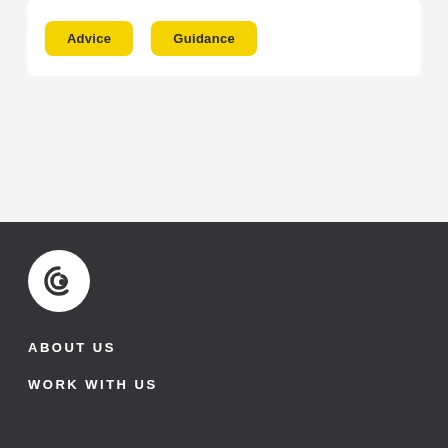[Figure (other): Two yellow rounded buttons labeled 'Advice' and 'Guidance' inside a white card on a light gray background]
[Figure (logo): Circular white logo with a stylized 'e' or swirl icon on a dark gray footer background]
ABOUT US
WORK WITH US